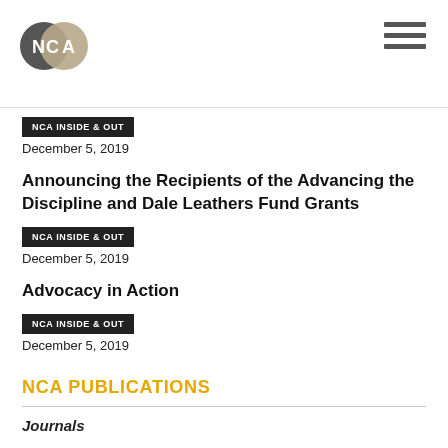NCA logo and navigation
NCA INSIDE & OUT
December 5, 2019
Announcing the Recipients of the Advancing the Discipline and Dale Leathers Fund Grants
NCA INSIDE & OUT
December 5, 2019
Advocacy in Action
NCA INSIDE & OUT
December 5, 2019
NCA PUBLICATIONS
Journals